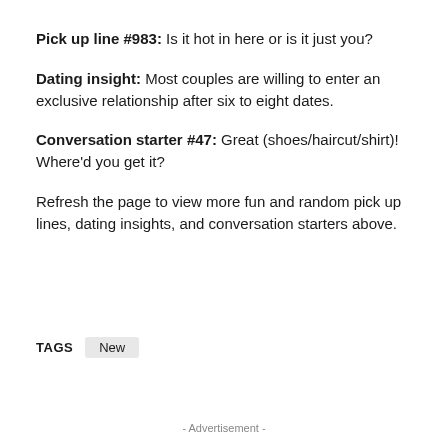Pick up line #983: Is it hot in here or is it just you?
Dating insight: Most couples are willing to enter an exclusive relationship after six to eight dates.
Conversation starter #47: Great (shoes/haircut/shirt)! Where'd you get it?
Refresh the page to view more fun and random pick up lines, dating insights, and conversation starters above.
TAGS  New
- Advertisement -